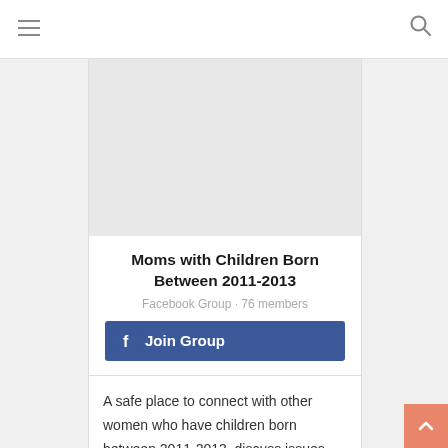≡  🔍
[Figure (screenshot): Facebook group page screenshot showing a card with group image placeholder, title, member count, join button, and description]
Moms with Children Born Between 2011-2013
Facebook Group · 76 members
Join Group
A safe place to connect with other women who have children born between 2011-2013, discuss issues, problems and moments of happiness, share experience...